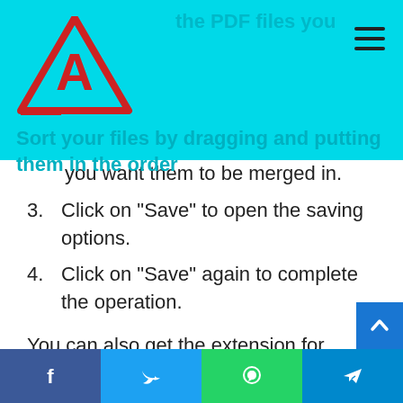[Figure (logo): FWD Times triangle logo with red 'A' inside and 'FWDTIMES' text below]
2. Sort your files by dragging and putting them in the order you want them to be merged in.
3. Click on “Save” to open the saving options.
4. Click on “Save” again to complete the operation.
You can also get the extension for Chrome and Mozilla Firefox.
Combine PDF
As the name hints, Combine PDF allows you to merge PDF online. Apart from combining PDFs, you can also convert them to different formats, which is an invaluable asset for PDF to